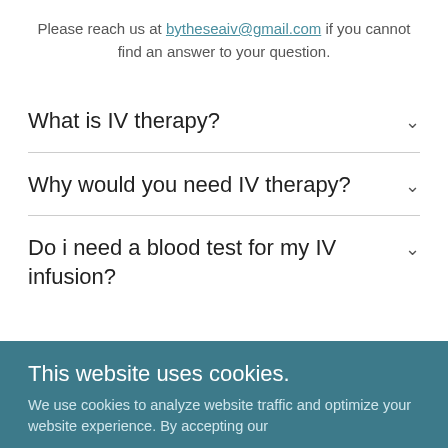Please reach us at bytheseaiv@gmail.com if you cannot find an answer to your question.
What is IV therapy?
Why would you need IV therapy?
Do i need a blood test for my IV infusion?
This website uses cookies.
We use cookies to analyze website traffic and optimize your website experience. By accepting our